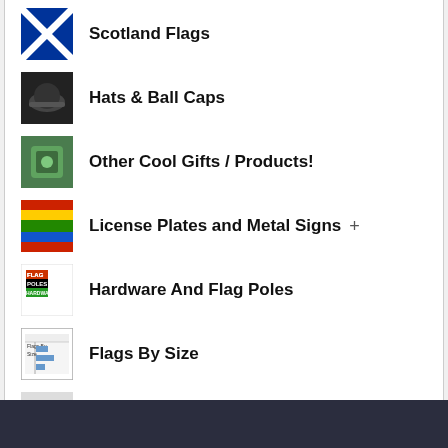Scotland Flags
Hats & Ball Caps
Other Cool Gifts / Products!
License Plates and Metal Signs
Hardware And Flag Poles
Flags By Size
Search Flags by Quality